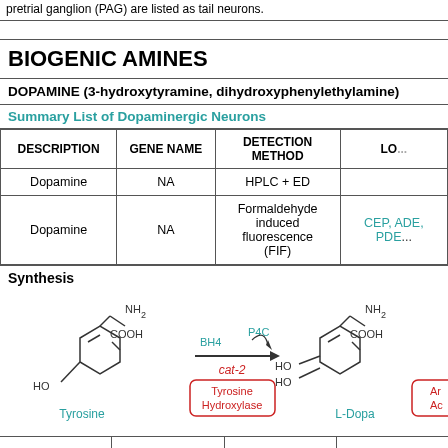pretrial ganglion (PAG) are listed as tail neurons.
BIOGENIC AMINES
DOPAMINE (3-hydroxytyramine, dihydroxyphenylethylamine)
Summary List of Dopaminergic Neurons
| DESCRIPTION | GENE NAME | DETECTION METHOD | LO... |
| --- | --- | --- | --- |
| Dopamine | NA | HPLC + ED |  |
| Dopamine | NA | Formaldehyde induced fluorescence (FIF) | CEP, ADE, PDE... |
Synthesis
[Figure (illustration): Chemical synthesis diagram showing Tyrosine converted to L-Dopa via Tyrosine Hydroxylase enzyme (cat-2 gene), with cofactors BH4 and P4C. Tyrosine structure shown with HO group and NH2, COOH groups. L-Dopa shown with two HO groups and NH2, COOH groups.]